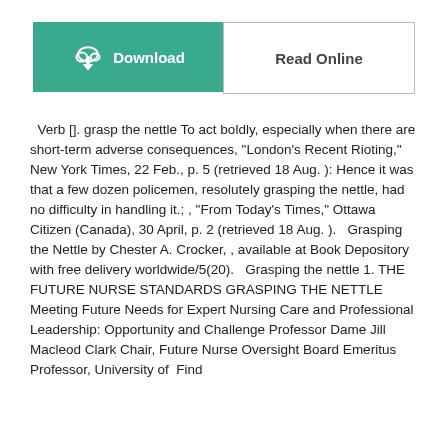[Figure (other): Download button (teal/green background, cloud icon) and Read Online button (white background, bordered)]
Verb []. grasp the nettle To act boldly, especially when there are short-term adverse consequences, "London's Recent Rioting," New York Times, 22 Feb., p. 5 (retrieved 18 Aug. ): Hence it was that a few dozen policemen, resolutely grasping the nettle, had no difficulty in handling it.; , "From Today's Times," Ottawa Citizen (Canada), 30 April, p. 2 (retrieved 18 Aug. ).   Grasping the Nettle by Chester A. Crocker, , available at Book Depository with free delivery worldwide/5(20).   Grasping the nettle 1. THE FUTURE NURSE STANDARDS GRASPING THE NETTLE Meeting Future Needs for Expert Nursing Care and Professional Leadership: Opportunity and Challenge Professor Dame Jill Macleod Clark Chair, Future Nurse Oversight Board Emeritus Professor, University of   Find